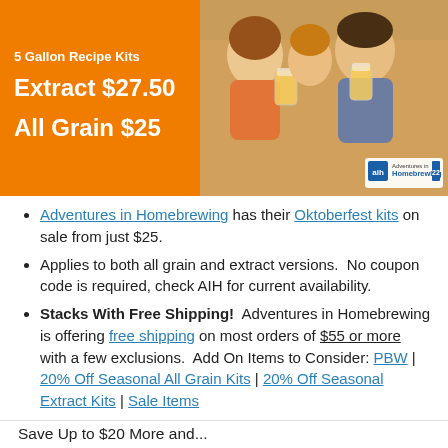[Figure (photo): Adventures in Homebrewing banner showing Oktoberfest recipe kits pricing: Extract $27.50, All Grain $25, with photo of people drinking beer and AIH logo badge.]
Adventures in Homebrewing has their Oktoberfest kits on sale from just $25.
Applies to both all grain and extract versions.   No coupon code is required, check AIH for current availability.
Stacks With Free Shipping!  Adventures in Homebrewing is offering free shipping on most orders of $55 or more with a few exclusions.  Add On Items to Consider: PBW | 20% Off Seasonal All Grain Kits | 20% Off Seasonal Extract Kits | Sale Items
Save Up to $20 More and...